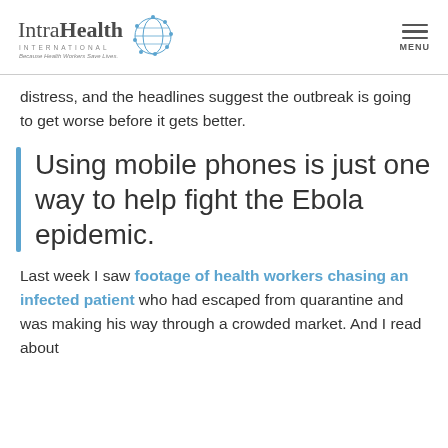IntraHealth International — Because Health Workers Save Lives | MENU
distress, and the headlines suggest the outbreak is going to get worse before it gets better.
Using mobile phones is just one way to help fight the Ebola epidemic.
Last week I saw footage of health workers chasing an infected patient who had escaped from quarantine and was making his way through a crowded market. And I read about